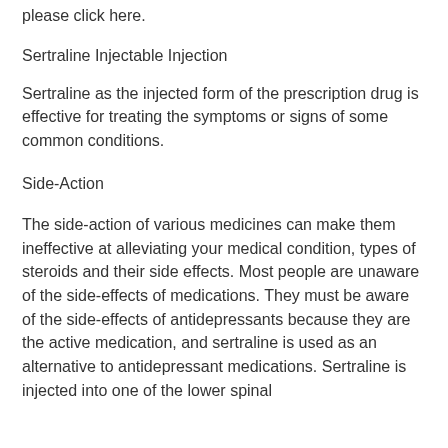please click here.
Sertraline Injectable Injection
Sertraline as the injected form of the prescription drug is effective for treating the symptoms or signs of some common conditions.
Side-Action
The side-action of various medicines can make them ineffective at alleviating your medical condition, types of steroids and their side effects. Most people are unaware of the side-effects of medications. They must be aware of the side-effects of antidepressants because they are the active medication, and sertraline is used as an alternative to antidepressant medications. Sertraline is injected into one of the lower spinal